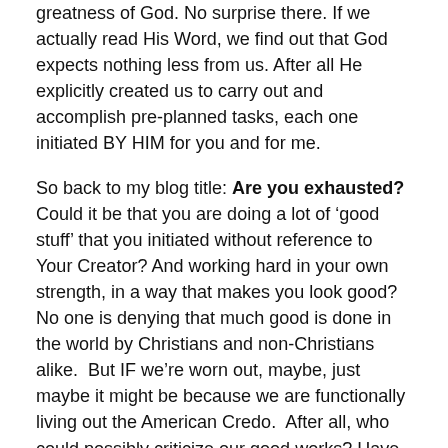greatness of God. No surprise there. If we actually read His Word, we find out that God expects nothing less from us. After all He explicitly created us to carry out and accomplish pre-planned tasks, each one initiated BY HIM for you and for me.
So back to my blog title: Are you exhausted? Could it be that you are doing a lot of ‘good stuff’ that you initiated without reference to Your Creator? And working hard in your own strength, in a way that makes you look good? No one is denying that much good is done in the world by Christians and non-Christians alike. But IF we’re worn out, maybe, just maybe it might be because we are functionally living out the American Credo. After all, who could possibly criticize our good works? Have you considered the answer to that question might be God, Himself?